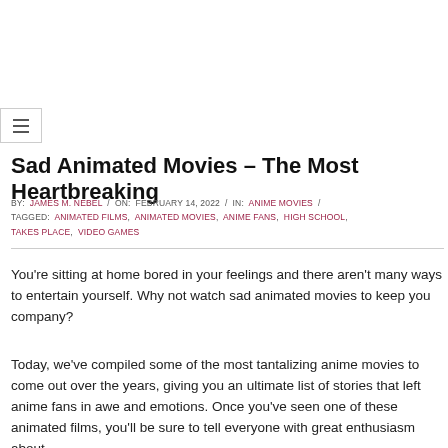Sad Animated Movies – The Most Heartbreaking
BY: JAMES M. NEBEL / ON: FEBRUARY 14, 2022 / IN: ANIME MOVIES / TAGGED: ANIMATED FILMS, ANIMATED MOVIES, ANIME FANS, HIGH SCHOOL, TAKES PLACE, VIDEO GAMES
You're sitting at home bored in your feelings and there aren't many ways to entertain yourself. Why not watch sad animated movies to keep you company?
Today, we've compiled some of the most tantalizing anime movies to come out over the years, giving you an ultimate list of stories that left anime fans in awe and emotions. Once you've seen one of these animated films, you'll be sure to tell everyone with great enthusiasm about